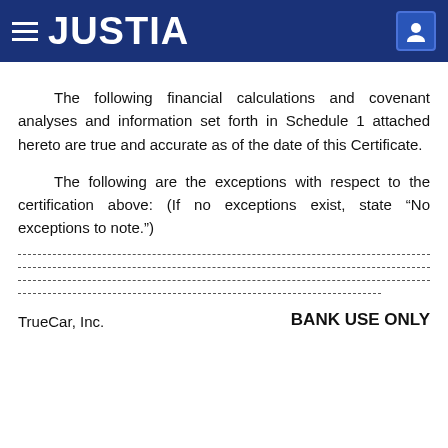JUSTIA
The following financial calculations and covenant analyses and information set forth in Schedule 1 attached hereto are true and accurate as of the date of this Certificate.
The following are the exceptions with respect to the certification above: (If no exceptions exist, state “No exceptions to note.”)
--- (dashed lines for writing) ---
TrueCar, Inc.
BANK USE ONLY